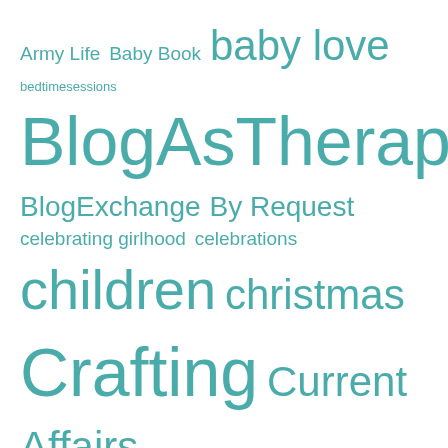[Figure (infographic): Tag cloud with blog category tags in varying font sizes, all in teal/green color. Tags include: Army Life, Baby Book, baby love, bedtimesessions, BlogAsTherapy, BlogExchange, By Request, celebrating girlhood, celebrations, children, christmas, Crafting, Current Affairs, DeployedHusband, diy photo, family, for lack of a better category, Friday Find, good ideas, Iphone, kiddos, life's too short, Lora, Love Grief, MiscAdventures, my kiddos]